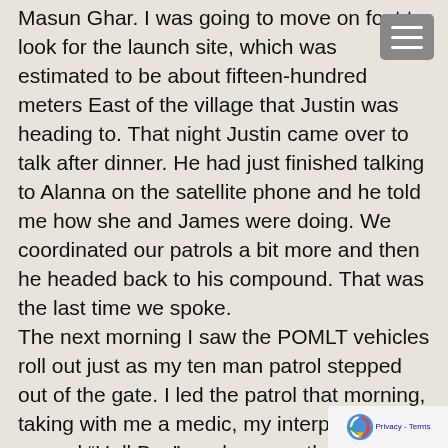Masun Ghar. I was going to move on foot to look for the launch site, which was estimated to be about fifteen-hundred meters East of the village that Justin was heading to. That night Justin came over to talk after dinner. He had just finished talking to Alanna on the satellite phone and he told me how she and James were doing. We coordinated our patrols a bit more and then he headed back to his compound. That was the last time we spoke. The next morning I saw the POMLT vehicles roll out just as my ten man patrol stepped out of the gate. I led the patrol that morning, taking with me a medic, my interpreter named “Hell Boy”, and seven other soldiers from the platoon. We found the launch site, took pictures and grids, but of course there was nothing left behind. We